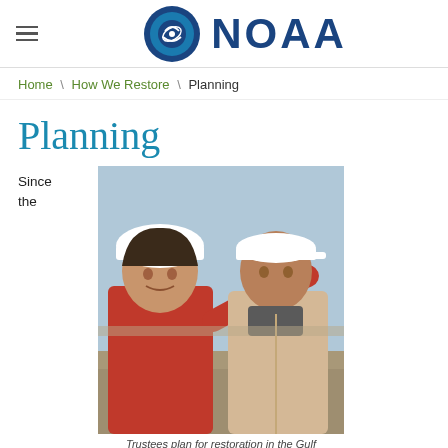NOAA
Home \ How We Restore \ Planning
Planning
Since the
[Figure (photo): Two people outdoors in field gear. One wearing a white hard hat and red jacket pointing toward something, the other wearing a white baseball cap and tan jacket, looking in the pointed direction. Dry landscape in background.]
Trustees plan for restoration in the Gulf